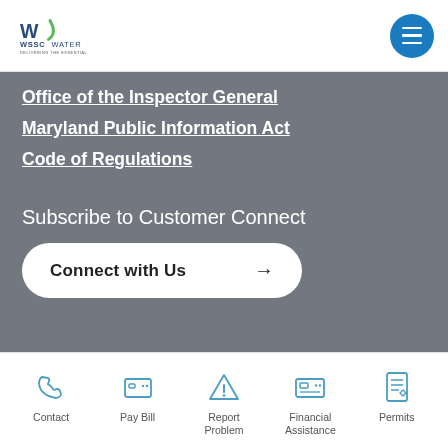WSSC Water - Delivering the Essential
Office of the Inspector General
Maryland Public Information Act
Code of Regulations
Subscribe to Customer Connect
Connect with Us →
Contact | Pay Bill | Report Problem | Financial Assistance | Permits